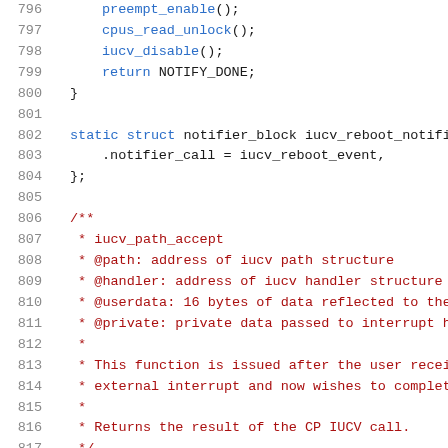Source code lines 796-817, C kernel code with iucv functions and comments